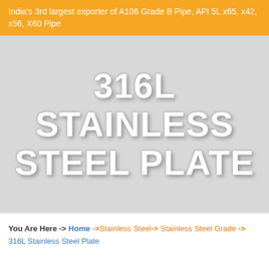India's 3rd largest exporter of A106 Grade B Pipe, API 5L x65, x42, x56, X60 Pipe
316L STAINLESS STEEL PLATE
You Are Here -> Home ->Stainless Steel-> Stainless Steel Grade -> 316L Stainless Steel Plate